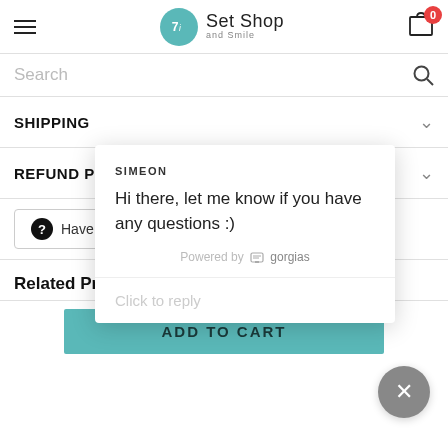Set Shop and Smile — navigation bar with hamburger menu, logo, and cart icon showing 0 items
Search
SHIPPING
REFUND POLICY
Have [questions?]
[Figure (screenshot): Chat popup from Gorgias. Sender: SIMEON. Message: Hi there, let me know if you have any questions :) Powered by gorgias. Click to reply input area.]
Related Products
ADD TO CART